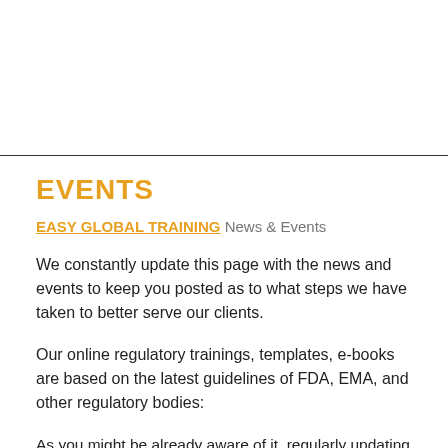EVENTS
EASY GLOBAL TRAINING News & Events
We constantly update this page with the news and events to keep you posted as to what steps we have taken to better serve our clients.
Our online regulatory trainings, templates, e-books are based on the latest guidelines of FDA, EMA, and other regulatory bodies:
As you might be already aware of it, regularly updating yourself with the